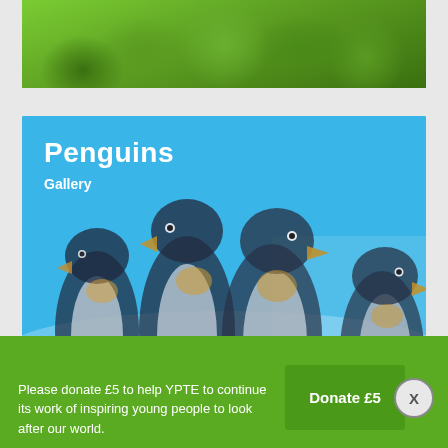[Figure (photo): Green tropical plant leaves viewed from above, lush foliage banner strip at top of page]
[Figure (photo): Group of emperor penguins standing together on snowy/icy ground, with a blue tinted overlay. Panel shows title 'Penguins' and subtitle 'Gallery'.]
Penguins
Gallery
Please donate £5 to help YPTE to continue its work of inspiring young people to look after our world.
Donate £5